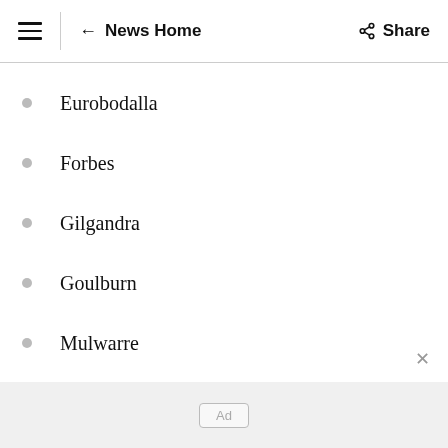≡ ← News Home   Share
Eurobodalla
Forbes
Gilgandra
Goulburn
Mulwarre
Kiama
Lake Macquarie
Ad